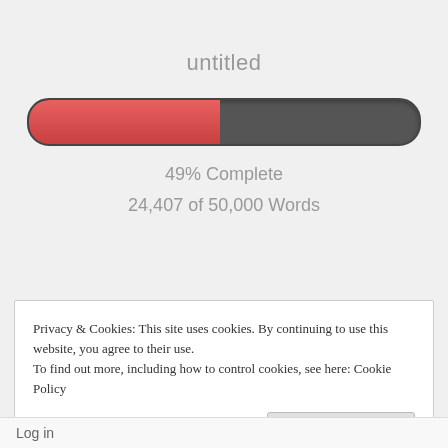untitled
[Figure (other): Progress bar showing 49% complete, red filled left portion and dark grey unfilled right portion, pill-shaped]
49% Complete
24,407 of 50,000 Words
Privacy & Cookies: This site uses cookies. By continuing to use this website, you agree to their use.
To find out more, including how to control cookies, see here: Cookie Policy
Close and accept
Log in